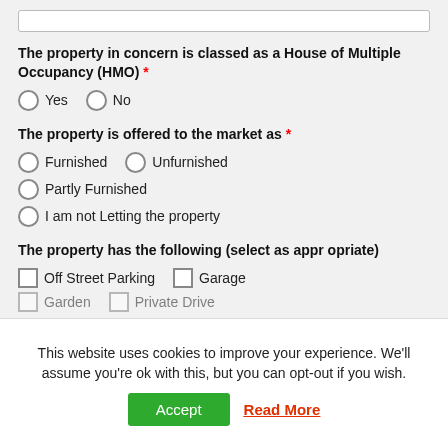The property in concern is classed as a House of Multiple Occupancy (HMO) *
Yes   No
The property is offered to the market as *
Furnished   Unfurnished
Partly Furnished
I am not Letting the property
The property has the following (select as appropriate)
Off Street Parking   Garage
Garden   Private Drive
This website uses cookies to improve your experience. We'll assume you're ok with this, but you can opt-out if you wish.